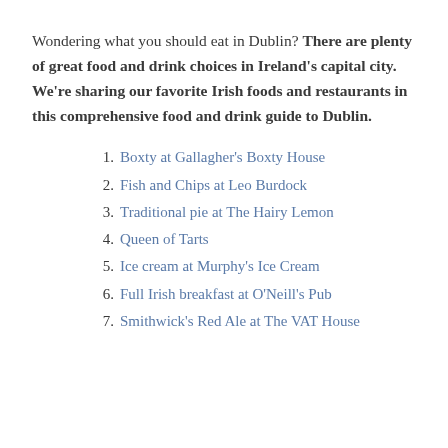Wondering what you should eat in Dublin? There are plenty of great food and drink choices in Ireland's capital city. We're sharing our favorite Irish foods and restaurants in this comprehensive food and drink guide to Dublin.
Boxty at Gallagher's Boxty House
Fish and Chips at Leo Burdock
Traditional pie at The Hairy Lemon
Queen of Tarts
Ice cream at Murphy's Ice Cream
Full Irish breakfast at O'Neill's Pub
Smithwick's Red Ale at The VAT House